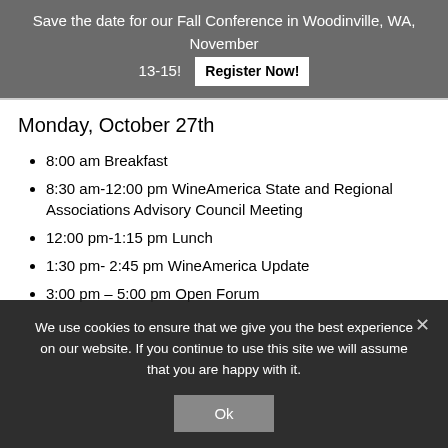Save the date for our Fall Conference in Woodinville, WA, November 13-15! Register Now!
Monday, October 27th
8:00 am Breakfast
8:30 am-12:00 pm WineAmerica State and Regional Associations Advisory Council Meeting
12:00 pm-1:15 pm Lunch
1:30 pm- 2:45 pm WineAmerica Update
3:00 pm – 5:00 pm Open Forum
We use cookies to ensure that we give you the best experience on our website. If you continue to use this site we will assume that you are happy with it. Ok